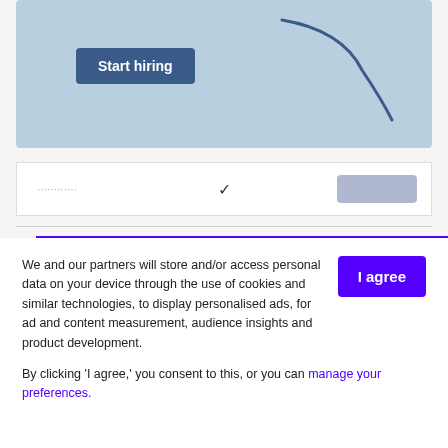[Figure (screenshot): Screenshot of a website banner with 'Start hiring' button on a blue background with a decorative curve]
[Figure (screenshot): Dropdown/filter bar with chevron and a blurred button]
Mar 3, 1832
Worcester vs. Georgia
We and our partners will store and/or access personal data on your device through the use of cookies and similar technologies, to display personalised ads, for ad and content measurement, audience insights and product development.

By clicking 'I agree,' you consent to this, or you can manage your preferences.